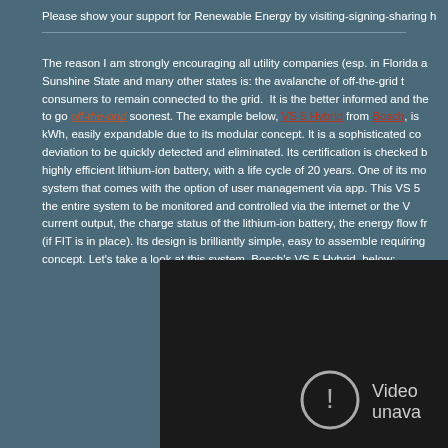Please show your support for Renewable Energy by visiting-signing-sharing h
The reason I am strongly encouraging all utility companies (esp. in Florida and the Sunshine State and many other states is: the avalanche of off-the-grid technology to consumers to remain connected to the grid. It is the better informed and the most likely to go off-the-grid soonest. The example below, VS 5 Hybrid from Bosch, is a kWh, easily expandable due to its modular concept. It is a sophisticated co- deviation to be quickly detected and eliminated. Its certification is checked b- highly efficient lithium-ion battery, with a life cycle of 20 years. One of its mo- system that comes with the option of user management via app. This VS 5 the entire system to be monitored and controlled via the internet or the V- current output, the charge status of the lithium-ion battery, the energy flow fr- (if FIT is in place). Its design is brilliantly simple, easy to assemble requiring concept. Let’s take a look at this system, Bosch’s VS 5 Hybrid, below:
[Figure (screenshot): Video unavailable placeholder with icon]